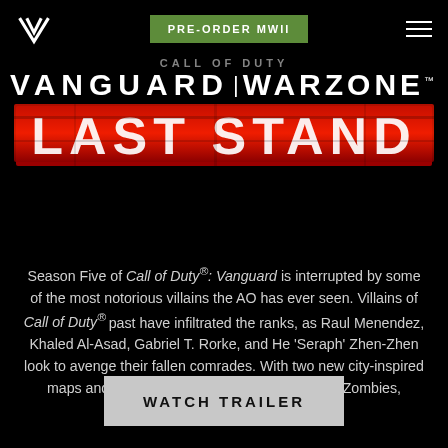PRE-ORDER MWII
CALL OF DUTY VANGUARD | WARZONE™ LAST STAND
Season Five of Call of Duty®: Vanguard is interrupted by some of the most notorious villains the AO has ever seen. Villains of Call of Duty® past have infiltrated the ranks, as Raul Menendez, Khaled Al-Asad, Gabriel T. Rorke, and He 'Seraph' Zhen-Zhen look to avenge their fallen comrades. With two new city-inspired maps and the newest chapter in Round-Based Zombies, sometimes it is good to be this bad.
[Figure (other): WATCH TRAILER button]